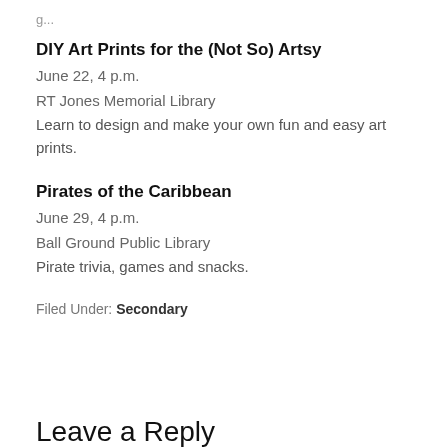...
DIY Art Prints for the (Not So) Artsy
June 22, 4 p.m.
RT Jones Memorial Library
Learn to design and make your own fun and easy art prints.
Pirates of the Caribbean
June 29, 4 p.m.
Ball Ground Public Library
Pirate trivia, games and snacks.
Filed Under: Secondary
Leave a Reply